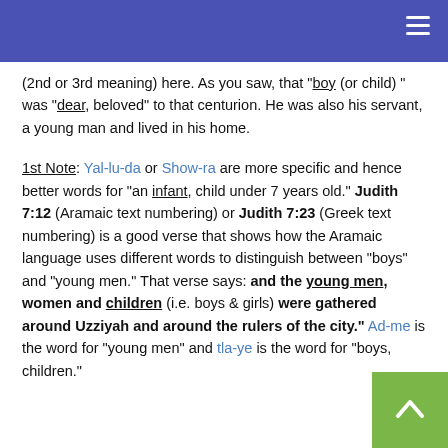(2nd or 3rd meaning) here. As you saw, that "boy (or child)" was "dear, beloved" to that centurion. He was also his servant, a young man and lived in his home.
1st Note: Yal-lu-da or Show-ra are more specific and hence better words for "an infant, child under 7 years old." Judith 7:12 (Aramaic text numbering) or Judith 7:23 (Greek text numbering) is a good verse that shows how the Aramaic language uses different words to distinguish between "boys" and "young men." That verse says: "and the young men, women and children (i.e. boys & girls) were gathered around Uzziyah and around the rulers of the city." Ad-me is the word for "young men" and tla-ye is the word for "boys, children."